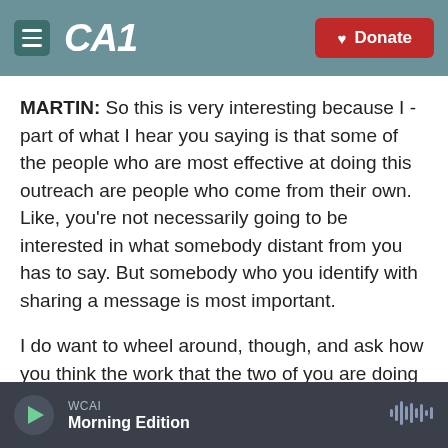CAI | WCAI | Donate
MARTIN: So this is very interesting because I - part of what I hear you saying is that some of the people who are most effective at doing this outreach are people who come from their own. Like, you're not necessarily going to be interested in what somebody distant from you has to say. But somebody who you identify with sharing a message is most important.
I do want to wheel around, though, and ask how you think the work that the two of you are doing might translate into other situations because, as I
WCAI  Morning Edition